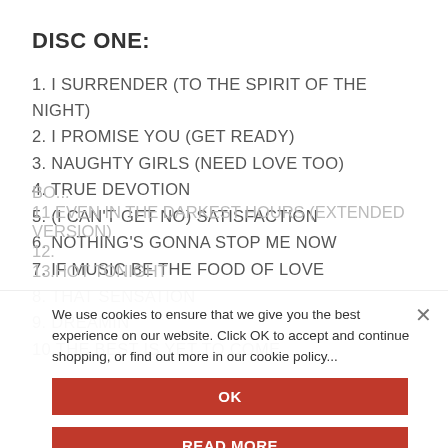DISC ONE:
1. I SURRENDER (TO THE SPIRIT OF THE NIGHT)
2. I PROMISE YOU (GET READY)
3. NAUGHTY GIRLS (NEED LOVE TOO)
4. TRUE DEVOTION
5. (I CAN'T GET NO) SATISFACTION
6. NOTHING'S GONNA STOP ME NOW
7. IF MUSIC BE THE FOOD OF LOVE
8. THAT SENSATION
9. DREAMIN'
10.THE BEST IS YET TO COME
11.EVEN IN THE DARKEST HOURS (EXTENDED VERSION)
12.
13.HOT TONIGHT
We use cookies to ensure that we give you the best experience on our website. Click OK to accept and continue shopping, or find out more in our cookie policy...
OK
READ MORE